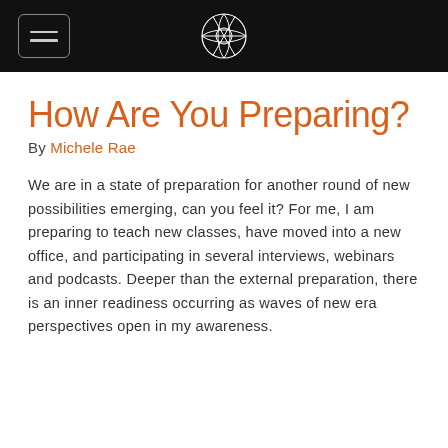How Are You Preparing?
By Michele Rae
We are in a state of preparation for another round of new possibilities emerging, can you feel it? For me, I am preparing to teach new classes, have moved into a new office, and participating in several interviews, webinars and podcasts. Deeper than the external preparation, there is an inner readiness occurring as waves of new era perspectives open in my awareness.